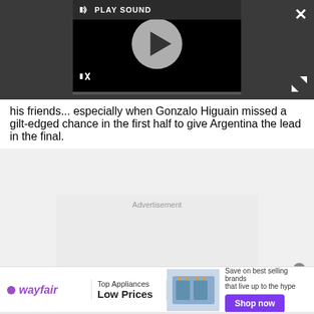[Figure (screenshot): Video player with play button circle, PLAY SOUND label, speaker/mute icons, and progress bar on dark background]
his friends... especially when Gonzalo Higuain missed a gilt-edged chance in the first half to give Argentina the lead in the final.
[Figure (other): Advertisement placeholder box with label 'Advertisement']
[Figure (other): Wayfair banner advertisement: Top Appliances Low Prices, Save on best selling brands that live up to the hype, Shop now button]